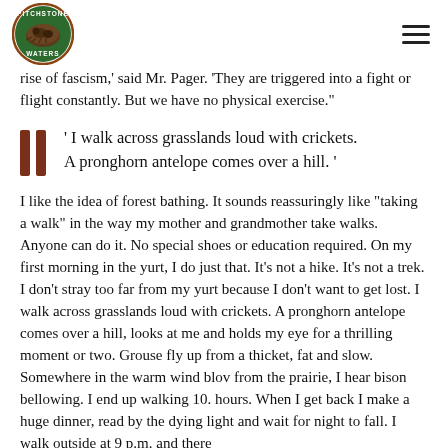Pitchstone Waters logo and navigation
rise of fascism,' said Mr. Pager. 'They are triggered into a fight or flight constantly. But we have no physical exercise.'
' I walk across grasslands loud with crickets. A pronghorn antelope comes over a hill. '
I like the idea of forest bathing. It sounds reassuringly like “taking a walk” in the way my mother and grandmother take walks. Anyone can do it. No special shoes or education required. On my first morning in the yurt, I do just that. It’s not a hike. It’s not a trek. I don’t stray too far from my yurt because I don’t want to get lost. I walk across grasslands loud with crickets. A pronghorn antelope comes over a hill, looks at me and holds my eye for a thrilling moment or two. Grouse fly up from a thicket, fat and slow. Somewhere in the warm wind blowing from the prairie, I hear bison bellowing. I end up walking for two hours. When I get back I make a huge dinner, read by the dying light and wait for night to fall. I walk outside at 9 p.m. and there